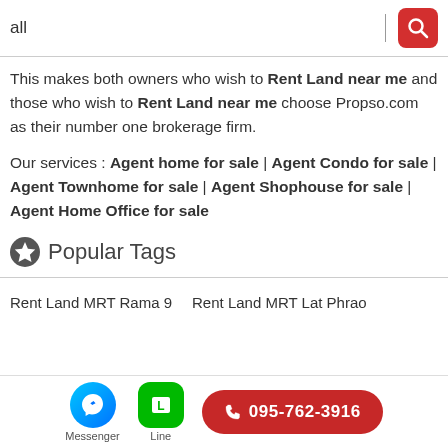all
This makes both owners who wish to Rent Land near me and those who wish to Rent Land near me choose Propso.com as their number one brokerage firm.
Our services : Agent home for sale | Agent Condo for sale | Agent Townhome for sale | Agent Shophouse for sale | Agent Home Office for sale
Popular Tags
Rent Land MRT Rama 9
Rent Land MRT Lat Phrao
Messenger | Line | 095-762-3916